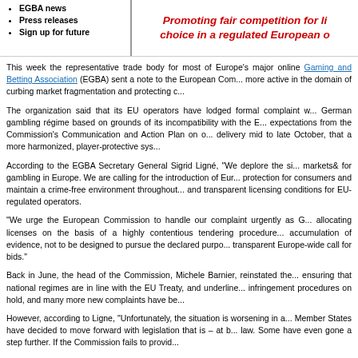EGBA news
Press releases
Sign up for future
Promoting fair competition for li... choice in a regulated European o...
This week the representative trade body for most of Europe's major online Gaming and Betting Association (EGBA) sent a note to the European Com... more active in the domain of curbing market fragmentation and protecting c...
The organization said that its EU operators have lodged formal complaint w... German gambling régime based on grounds of its incompatibility with the E... expectations from the Commission's Communication and Action Plan on o... delivery mid to late October, that a more harmonized, player-protective sys...
According to the EGBA Secretary General Sigrid Ligné, "We deplore the si... markets& for gambling in Europe. We are calling for the introduction of Eur... protection for consumers and maintain a crime-free environment throughout... and transparent licensing conditions for EU-regulated operators.
“We urge the European Commission to handle our complaint urgently as G... allocating licenses on the basis of a highly contentious tendering procedure... accumulation of evidence, not to be designed to pursue the declared purpo... transparent Europe-wide call for bids."
Back in June, the head of the Commission, Michele Barnier, reinstated the... ensuring that national regimes are in line with the EU Treaty, and underline... infringement procedures on hold, and many more new complaints have be...
However, according to Ligne, "Unfortunately, the situation is worsening in a... Member States have decided to move forward with legislation that is – at b... law. Some have even gone a step further. If the Commission fails to provid...